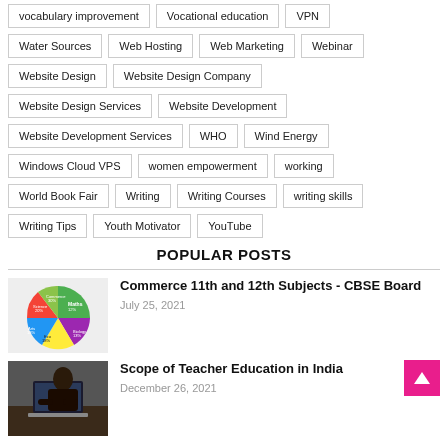vocabulary improvement
Vocational education
VPN
Water Sources
Web Hosting
Web Marketing
Webinar
Website Design
Website Design Company
Website Design Services
Website Development
Website Development Services
WHO
Wind Energy
Windows Cloud VPS
women empowerment
working
World Book Fair
Writing
Writing Courses
writing skills
Writing Tips
Youth Motivator
YouTube
POPULAR POSTS
[Figure (pie-chart): Pie chart showing subject distribution for Commerce 11th and 12th CBSE Board]
Commerce 11th and 12th Subjects - CBSE Board
July 25, 2021
[Figure (photo): Photo related to Scope of Teacher Education in India - person at laptop]
Scope of Teacher Education in India
December 26, 2021